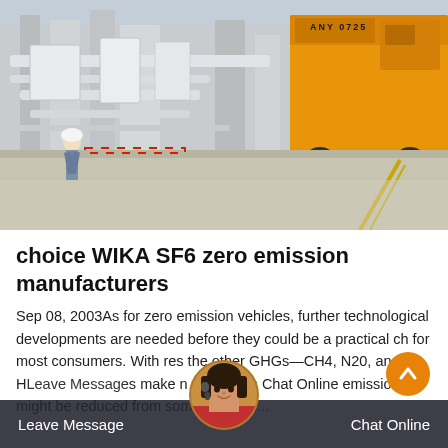[Figure (photo): Industrial facility with white piping and equipment, a yellow utility truck on the right with text 'ANY 0725', a worker in the foreground left, and a concrete ground area. Outdoor industrial/infrastructure setting.]
choice WIKA SF6 zero emission manufacturers
Sep 08, 2003As for zero emission vehicles, further technological developments are needed before they could be a practical ch for most consumers. With res the other GHGs—CH4, N20, and H Leave Message s make gestion as Chat Online emissions might be reduced from some vehicles...